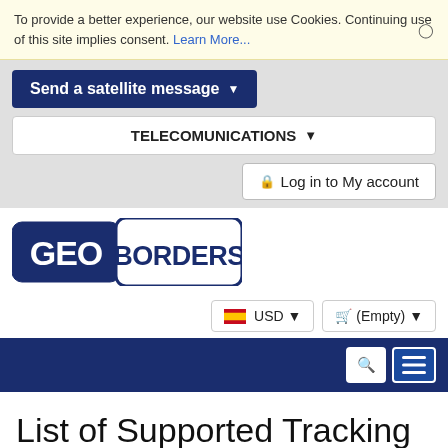To provide a better experience, our website use Cookies. Continuing use of this site implies consent. Learn More...
[Figure (screenshot): Navigation button: 'Send a satellite message' with dropdown arrow, dark navy blue background]
TELECOMUNICATIONS ▾
🔒 Log in to My account
[Figure (logo): GEOBORDERS logo — white GEO text on dark blue rounded rectangle, BORDERS text in dark blue on white rounded rectangle]
🇪🇸 USD ▾
🛒 (Empty) ▾
List of Supported Tracking